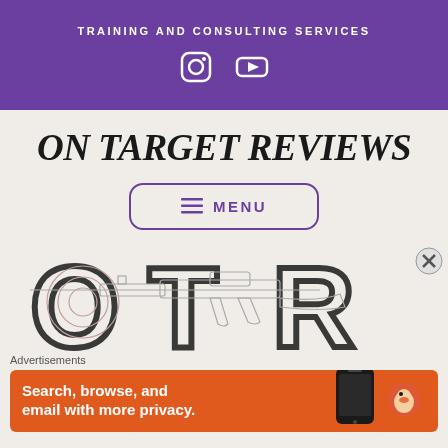TRAINING AND CONSULTING SERVICES
[Figure (logo): Instagram and YouTube social media icons in white on purple background]
ON TARGET REVIEWS
≡ MENU
[Figure (illustration): OTR logo with line drawing of AR-15 style rifle overlaid on large letters O, T, R with a target/bullseye circle on the left]
Advertisements
[Figure (screenshot): DuckDuckGo advertisement banner: Search, browse, and email with more privacy.]